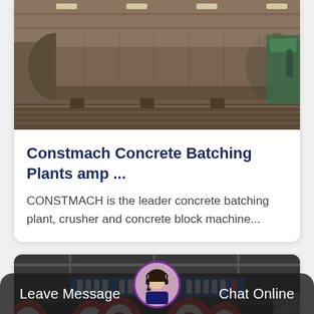[Figure (photo): Industrial factory interior showing large cylindrical metal drum/tank lying horizontally on supports in a manufacturing plant.]
Constmach Concrete Batching Plants amp ...
CONSTMACH is the leader concrete batching plant, crusher and concrete block machine...
[Figure (photo): Industrial manufacturing plant showing large jaw crusher wheels with red and white painted surfaces, with Chinese banners in the background.]